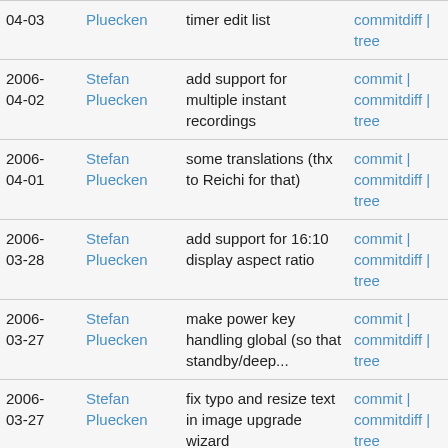| Date | Author | Message | Links |
| --- | --- | --- | --- |
| 04-03 | Pluecken | timer edit list | commitdiff | tree |
| 2006-04-02 | Stefan Pluecken | add support for multiple instant recordings | commit | commitdiff | tree |
| 2006-04-01 | Stefan Pluecken | some translations (thx to Reichi for that) | commit | commitdiff | tree |
| 2006-03-28 | Stefan Pluecken | add support for 16:10 display aspect ratio | commit | commitdiff | tree |
| 2006-03-27 | Stefan Pluecken | make power key handling global (so that standby/deep... | commit | commitdiff | tree |
| 2006-03-27 | Stefan Pluecken | fix typo and resize text in image upgrade wizard | commit | commitdiff | tree |